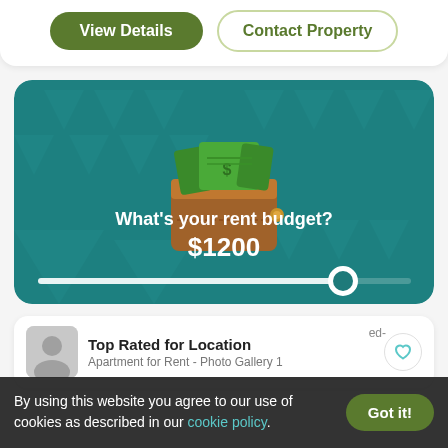View Details
Contact Property
[Figure (illustration): Rent budget widget card with teal background, decorative triangle pattern, wallet icon with dollar bills, 'What's your rent budget?' heading, $1200 amount, and a slider control]
Top Rated for Location
Apartment for Rent - Photo Gallery 1
By using this website you agree to our use of cookies as described in our cookie policy.
Got it!